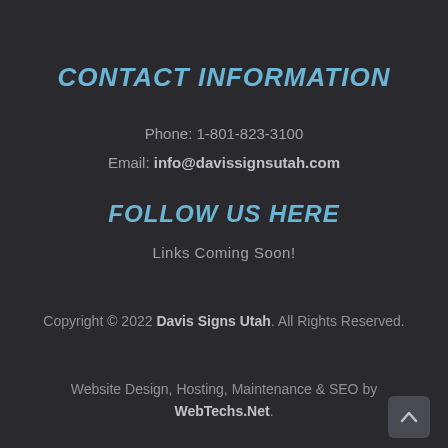CONTACT INFORMATION
Phone: 1-801-823-3100
Email: info@davissignsutah.com
FOLLOW US HERE
Links Coming Soon!
Copyright © 2022 Davis Signs Utah. All Rights Reserved.
Website Design, Hosting, Maintenance & SEO by WebTechs.Net.